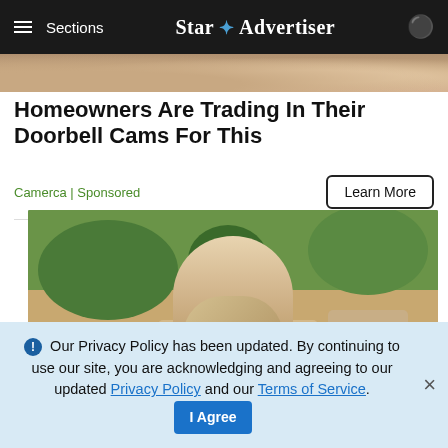≡ Sections  Star ✦ Advertiser
[Figure (photo): Top portion of a photo showing a person outdoors near a building]
Homeowners Are Trading In Their Doorbell Cams For This
Camerca | Sponsored
Learn More
[Figure (photo): Woman with long blonde hair wearing a mint green top standing outdoors in front of a Spanish-style house with trees]
Our Privacy Policy has been updated. By continuing to use our site, you are acknowledging and agreeing to our updated Privacy Policy and our Terms of Service. I Agree